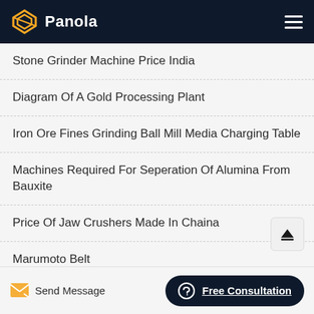Panola
Stone Grinder Machine Price India
Diagram Of A Gold Processing Plant
Iron Ore Fines Grinding Ball Mill Media Charging Table
Machines Required For Seperation Of Alumina From Bauxite
Price Of Jaw Crushers Made In Chaina
Marumoto Belt
Send Message | Free Consultation